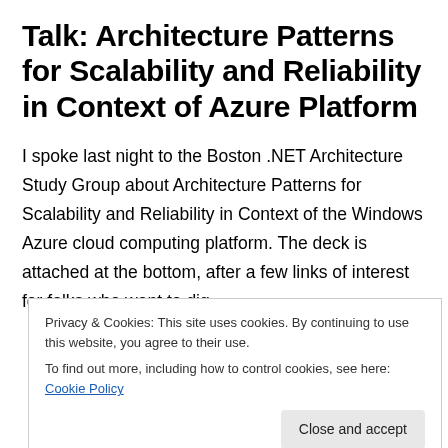Talk: Architecture Patterns for Scalability and Reliability in Context of Azure Platform
I spoke last night to the Boston .NET Architecture Study Group about Architecture Patterns for Scalability and Reliability in Context of the Windows Azure cloud computing platform. The deck is attached at the bottom, after a few links of interest for folks who want to dig deeper. Continue reading
Privacy & Cookies: This site uses cookies. By continuing to use this website, you agree to their use.
To find out more, including how to control cookies, see here: Cookie Policy
Close and accept